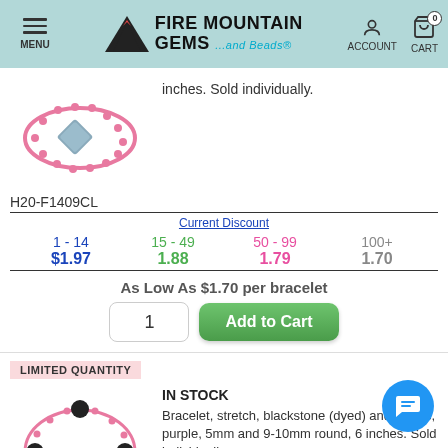MENU | FIRE MOUNTAIN GEMS ...and Beads® | ACCOUNT | CART 0
inches. Sold individually.
[Figure (photo): Pink beaded bracelet with a blue diamond-shaped stone centerpiece]
H20-F1409CL
| Current Discount | 15 - 49 | 50 - 99 | 100+ |
| --- | --- | --- | --- |
| 1 - 14 | 15 - 49 | 50 - 99 | 100+ |
| $1.97 | 1.88 | 1.79 | 1.70 |
As Low As $1.70 per bracelet
1
Add to Cart
LIMITED QUANTITY
IN STOCK
[Figure (photo): Pink and black beaded stretch bracelet with large black round beads]
Bracelet, stretch, blackstone (dyed) and acrylic, purple, 5mm and 9-10mm round, 6 inches. Sold individually.